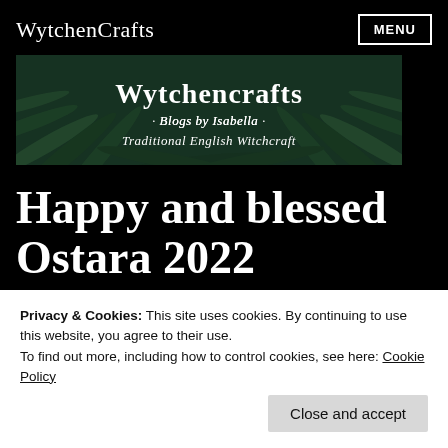WytchenCrafts  MENU
[Figure (illustration): Banner image for WytchenCrafts blog showing fern leaves background with white script text reading 'Wytchencrafts', 'Blogs by Isabella', and 'Traditional English Witchcraft']
Happy and blessed Ostara 2022
Ostara, Spring Solstice, Wiccan and Pagan
Privacy & Cookies: This site uses cookies. By continuing to use this website, you agree to their use.
To find out more, including how to control cookies, see here: Cookie Policy
Close and accept